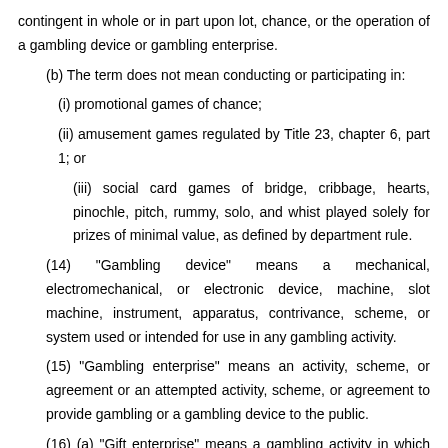contingent in whole or in part upon lot, chance, or the operation of a gambling device or gambling enterprise.
(b)  The term does not mean conducting or participating in:
(i)  promotional games of chance;
(ii) amusement games regulated by Title 23, chapter 6, part 1; or
(iii) social card games of bridge, cribbage, hearts, pinochle, pitch, rummy, solo, and whist played solely for prizes of minimal value, as defined by department rule.
(14) "Gambling device" means a mechanical, electromechanical, or electronic device, machine, slot machine, instrument, apparatus, contrivance, scheme, or system used or intended for use in any gambling activity.
(15) "Gambling enterprise" means an activity, scheme, or agreement or an attempted activity, scheme, or agreement to provide gambling or a gambling device to the public.
(16) (a) "Gift enterprise" means a gambling activity in which persons